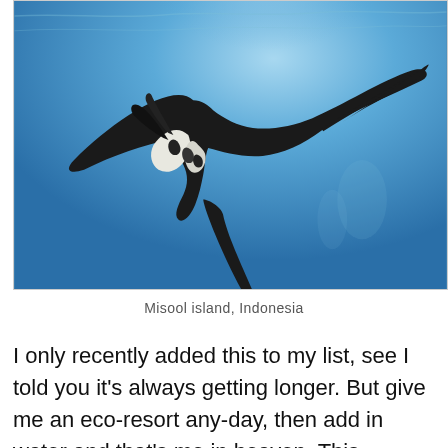[Figure (photo): Underwater photo of a manta ray swimming against a bright blue ocean background, viewed from below/side with sunlight filtering through the water above.]
Misool island, Indonesia
I only recently added this to my list, see I told you it's always getting longer. But give me an eco-resort any-day, then add in water and that's me in heaven. This location is said to have has some of